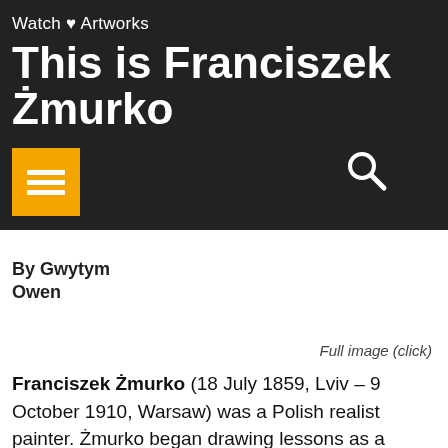Watch Artworks
This is Franciszek Żmurko
By Gwytym Owen
Full image (click)
Franciszek Żmurko (18 July 1859, Lviv – 9 October 1910, Warsaw) was a Polish realist painter. Żmurko began drawing lessons as a